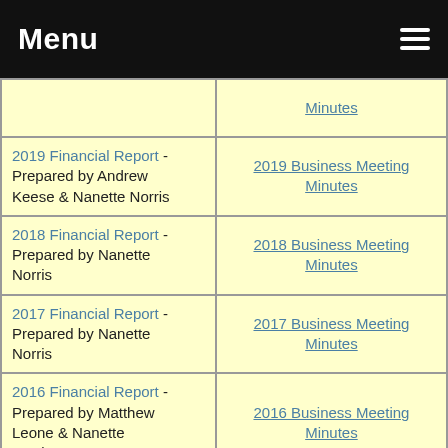Menu
| Financial Report | Business Meeting Minutes |
| --- | --- |
| [partial row - cut off at top] | Minutes |
| 2019 Financial Report - Prepared by Andrew Keese & Nanette Norris | 2019 Business Meeting Minutes |
| 2018 Financial Report - Prepared by Nanette Norris | 2018 Business Meeting Minutes |
| 2017 Financial Report - Prepared by Nanette Norris | 2017 Business Meeting Minutes |
| 2016 Financial Report - Prepared by Matthew Leone & Nanette Norris | 2016 Business Meeting Minutes |
| 2015 Financial Report - Prepared by Matthew Leone | 2015 Business Meeting Minutes |
| 2014 Financial Report - Prepared by Joyce Weyler | 2014 Business Meeting Minutes |